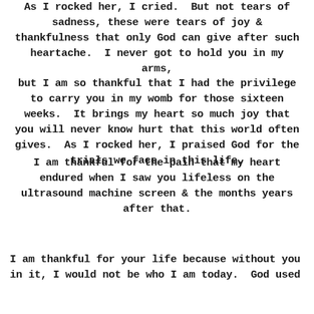As I rocked her, I cried. But not tears of sadness, these were tears of joy & thankfulness that only God can give after such heartache. I never got to hold you in my arms, but I am so thankful that I had the privilege to carry you in my womb for those sixteen weeks. It brings my heart so much joy that you will never know hurt that this world often gives. As I rocked her, I praised God for the trials we face in this life.
I am thankful for the pain that my heart endured when I saw you lifeless on the ultrasound machine screen & the months years after that.
I am thankful for your life because without you in it, I would not be who I am today. God used